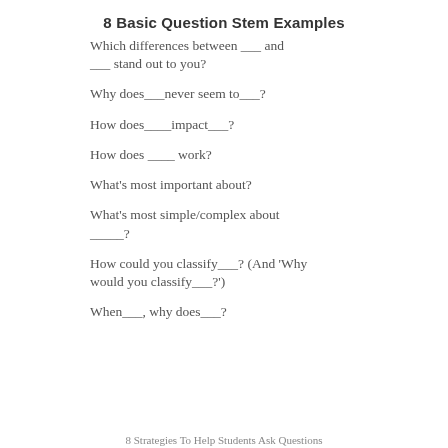8 Basic Question Stem Examples
Which differences between ___ and ___ stand out to you?
Why does___never seem to___?
How does____impact___?
How does ____ work?
What's most important about?
What's most simple/complex about _____?
How could you classify___? (And 'Why would you classify___?')
When___, why does___?
8 Strategies To Help Students Ask Questions